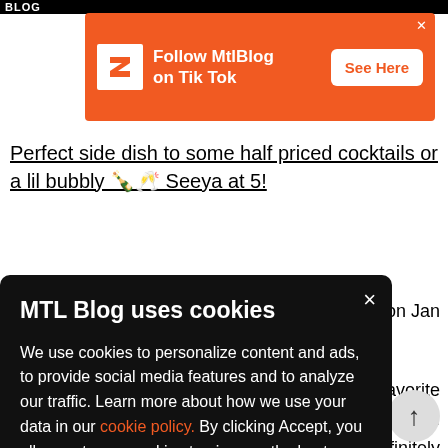[Figure (logo): MTL Blog logo in white text on black background]
[Figure (infographic): Orange ad banner: Follow MtlBlog on Tik Tok with See Here button and TikTok logo]
Perfect side dish to some half priced cocktails or a lil bubbly 🍾🥂 Seeya at 5!
on Jan
avorite dinner! efinitely key kind
MTL Blog uses cookies
We use cookies to personalize content and ads, to provide social media features and to analyze our traffic. Learn more about how we use your data in our cookie policy. By clicking Accept, you allow us to use cookies to give you the best experience on site.
Accept